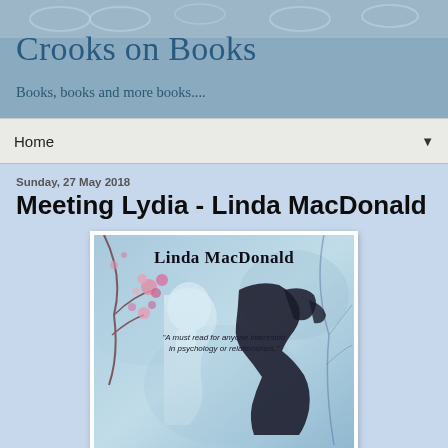Crooks on Books
Books, books and more books....
Home ▼
Sunday, 27 May 2018
Meeting Lydia - Linda MacDonald
[Figure (photo): Book cover for 'Meeting Lydia' by Linda MacDonald. Cover shows two silhouettes facing each other — a translucent white male profile on the left and a dark female silhouette on the right — against a blue/teal watercolor background with pink flowering branches. Text reads 'Linda MacDonald' and '"A must read for anyone interested in psychology or relationships."']